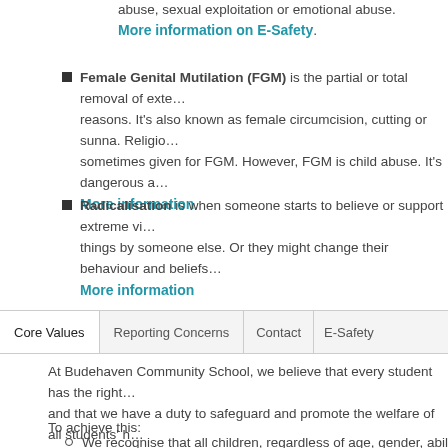abuse, sexual exploitation or emotional abuse.
More information on E-Safety.
Female Genital Mutilation (FGM) is the partial or total removal of external genitalia for non-medical reasons. It's also known as female circumcision, cutting or sunna. Religious, social or cultural reasons are sometimes given for FGM. However, FGM is child abuse. It's dangerous and a criminal act.
More information.
Radicalisation is when someone starts to believe or support extreme views, or is pressured into doing things by someone else. Or they might change their behaviour and beliefs.
More information
Core Values | Reporting Concerns | Contact | E-Safety
At Budehaven Community School, we believe that every student has the right to learn in a safe environment and that we have a duty to safeguard and promote the welfare of all students' holistic development. We will endeavour to ensure that students have consistent provision of safe, effective care that will enable each student to have optimum life chances and to successfully enter adulthood.
To achieve this:
We recognise that all children, regardless of age, gender, ability, culture, race, language, religion or belief,